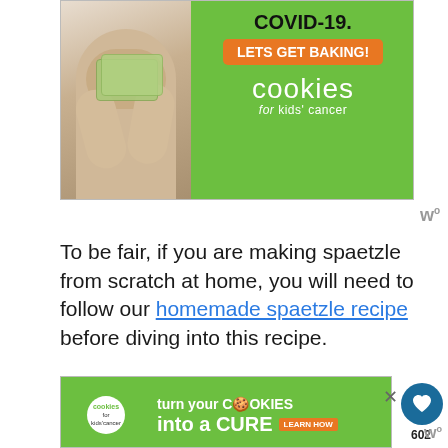[Figure (photo): Advertisement banner for Cookies for Kids Cancer. Green background with a person holding money/cash on the left, text reading 'COVID-19.' at top, orange button 'LETS GET BAKING!' and 'cookies for kids cancer' logo.]
To be fair, if you are making spaetzle from scratch at home, you will need to follow our homemade spaetzle recipe before diving into this recipe.
You can always leave and come back to this cheesy recipe when you're ready wit your spaetzle!
[Figure (photo): Advertisement banner for Cookies for Kids Cancer at bottom. Green background with logo on left, text 'turn your COOKIES into a CURE LEARN HOW'.]